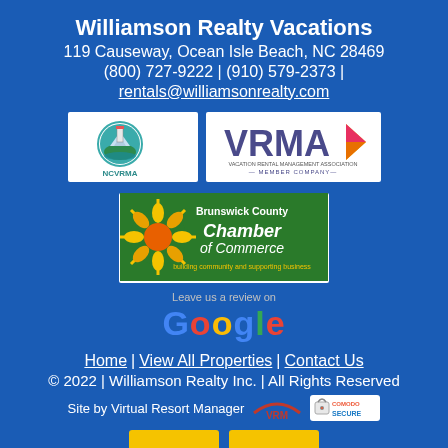Williamson Realty Vacations
119 Causeway, Ocean Isle Beach, NC 28469
(800) 727-9222 | (910) 579-2373 |
rentals@williamsonrealty.com
[Figure (logo): NCVRMA logo - circular emblem with lighthouse and beach scene]
[Figure (logo): VRMA Vacation Rental Management Association Member Company logo]
[Figure (logo): Brunswick County Chamber of Commerce logo - building community and supporting business]
Leave us a review on
[Figure (logo): Google colorful text logo]
Home | View All Properties | Contact Us
© 2022 | Williamson Realty Inc. | All Rights Reserved
Site by Virtual Resort Manager
[Figure (logo): VRM Virtual Resort Manager logo]
[Figure (logo): Comodo Secure logo]
[Figure (logo): Yellow bottom logos partially visible]